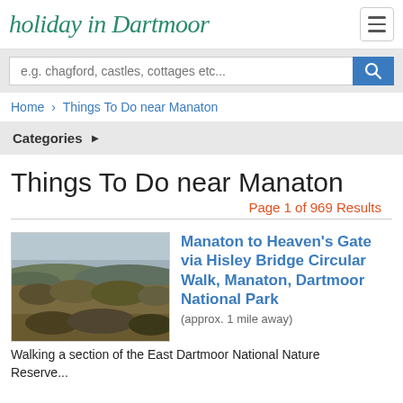holiday in Dartmoor
e.g. chagford, castles, cottages etc...
Home › Things To Do near Manaton
Categories ▶
Things To Do near Manaton
Page 1 of 969 Results
[Figure (photo): Landscape photo of Dartmoor moorland with scrubby vegetation and overcast sky]
Manaton to Heaven's Gate via Hisley Bridge Circular Walk, Manaton, Dartmoor National Park
(approx. 1 mile away)
Walking a section of the East Dartmoor National Nature Reserve...